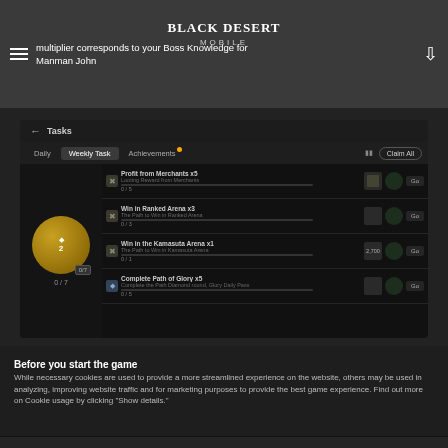multiplier corresponds to your Boss Knowledge for Manman John
[Figure (screenshot): Black Desert Mobile game screenshot showing the Tasks screen with Weekly Task tab selected, listing tasks: Profit from Merchants x5, Win in Ranked Arena x3, Win in the Kamasuta Arena x1, Complete Path of Glory x5, with rewards and Go buttons.]
Before you start the game
While necessary cookies are used to provide a more streamlined experience on the website, others may be used in analyzing, improving website traffic and for marketing purposes to provide the best game experience. Find out more on Cookie usage by clicking "Show details."
Show Details >
Accept All
Choose What to Accept >
Only Accept Required